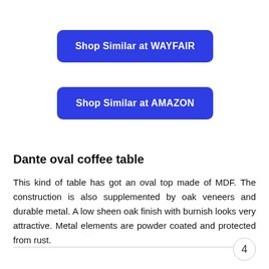[Figure (other): Blue rounded button labeled 'Shop Similar at WAYFAIR']
[Figure (other): Blue rounded button labeled 'Shop Similar at AMAZON']
Dante oval coffee table
This kind of table has got an oval top made of MDF. The construction is also supplemented by oak veneers and durable metal. A low sheen oak finish with burnish looks very attractive. Metal elements are powder coated and protected from rust.
4